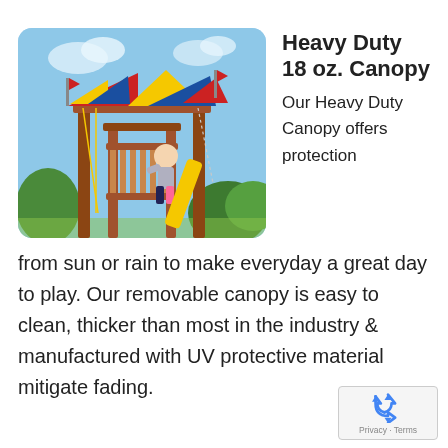[Figure (photo): A colorful playground swing set with red, yellow, and blue canopy panels and a young child playing on it, wooden structure with slides and chains, outdoor setting with trees and blue sky in background.]
Heavy Duty 18 oz. Canopy
Our Heavy Duty Canopy offers protection from sun or rain to make everyday a great day to play. Our removable canopy is easy to clean, thicker than most in the industry & manufactured with UV protective material mitigate fading.
[Figure (logo): Google reCAPTCHA badge with recycling-arrow logo icon and Privacy - Terms text]